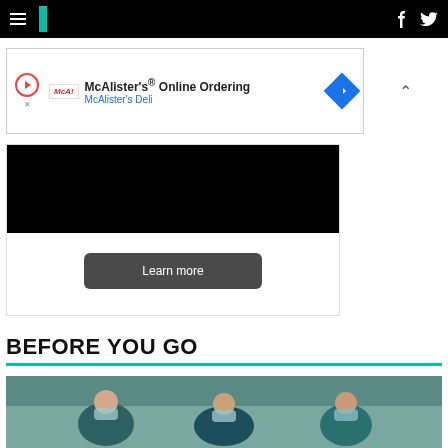HuffPost navigation header with hamburger menu, logo, facebook and twitter icons
[Figure (screenshot): McAlister's Online Ordering advertisement banner with McAlister's Deli logo, play button, blue arrow diamond icon, and collapse chevron]
[Figure (screenshot): Secondary advertisement block with black image area and 'Learn more' dark button]
BEFORE YOU GO
[Figure (photo): Grocery store checkout workers wearing face masks and teal uniforms working at cash registers]